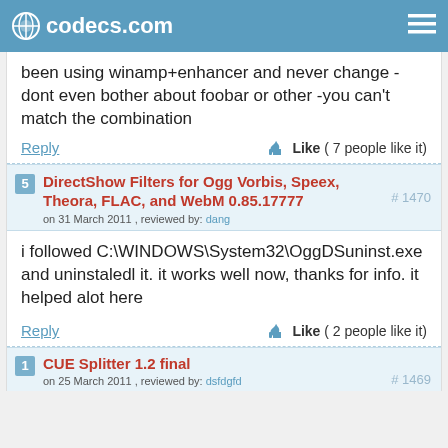codecs.com
been using winamp+enhancer and never change - dont even bother about foobar or other -you can't match the combination
Reply   Like ( 7 people like it)
5  DirectShow Filters for Ogg Vorbis, Speex, Theora, FLAC, and WebM 0.85.17777
on 31 March 2011 , reviewed by: dang
# 1470
i followed C:\WINDOWS\System32\OggDSuninst.exe and uninstaledl it. it works well now, thanks for info. it helped alot here
Reply   Like ( 2 people like it)
1  CUE Splitter 1.2 final
on 25 March 2011 , reviewed by: dsfdgfd
# 1469